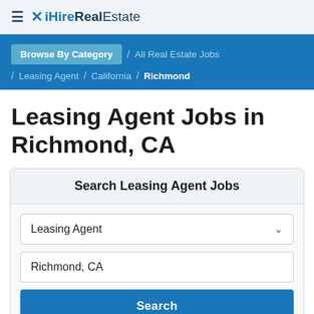iHireRealEstate
Browse By Category / All Real Estate Jobs / Leasing Agent / California / Richmond
Leasing Agent Jobs in Richmond, CA
Search Leasing Agent Jobs
Leasing Agent
Richmond, CA
Search